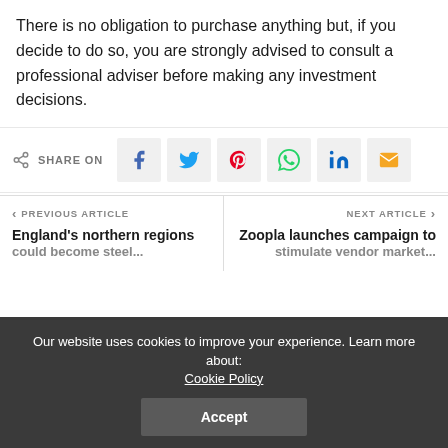There is no obligation to purchase anything but, if you decide to do so, you are strongly advised to consult a professional adviser before making any investment decisions.
[Figure (infographic): Social share bar with icons for Facebook, Twitter, Pinterest, WhatsApp, LinkedIn, and Email, preceded by a share icon and 'SHARE ON' label]
< PREVIOUS ARTICLE
England's northern regions could become steel...
NEXT ARTICLE >
Zoopla launches campaign to stimulate vendor market...
Our website uses cookies to improve your experience. Learn more about: Cookie Policy
Accept